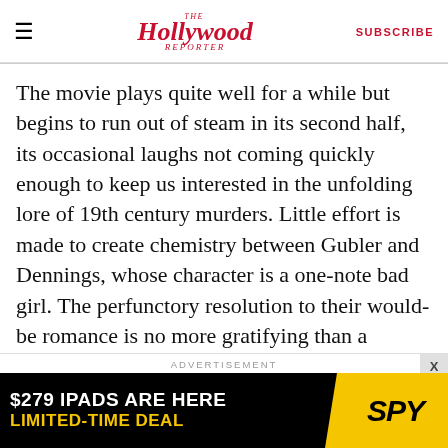The Hollywood Reporter — SUBSCRIBE
The movie plays quite well for a while but begins to run out of steam in its second half, its occasional laughs not coming quickly enough to keep us interested in the unfolding lore of 19th century murders. Little effort is made to create chemistry between Gubler and Dennings, whose character is a one-note bad girl. The perfunctory resolution to their would-be romance is no more gratifying than a climax in which both spirit-world drama and Raymond's domestic conflict are wrapped up in a single tidy event.
ADVERTISEMENT
[Figure (other): Advertisement banner: '$279 IPADS ARE HERE / LIMITED-TIME DEAL' with SPY logo on yellow background]